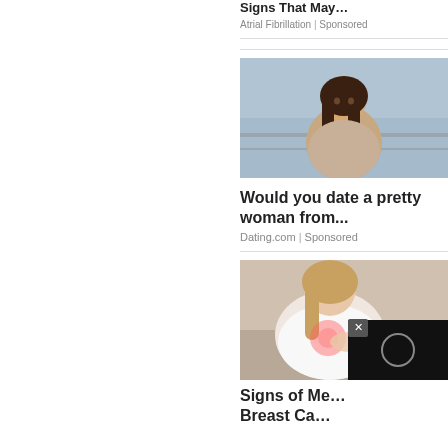Signs That May…
Atrial Fibrillation | Sponsored
[Figure (photo): Woman with long dark hair wearing a beige sweater standing outdoors near a railing with water in the background]
Would you date a pretty woman from...
Dating.com | Sponsored
[Figure (photo): Woman in white shirt holding her chest, showing a glowing red area indicating breast pain or health issue, with a video player overlay in the bottom right corner]
Signs of Me… Breast Ca…